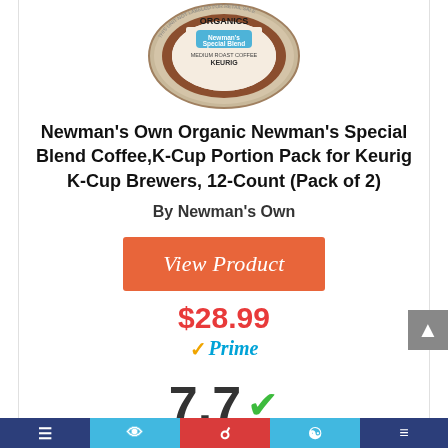[Figure (photo): Newman's Own Organics Newman's Special Blend K-Cup product image — circular pod top view, brown and white label with blue badge]
Newman's Own Organic Newman's Special Blend Coffee,K-Cup Portion Pack for Keurig K-Cup Brewers, 12-Count (Pack of 2)
By Newman's Own
View Product
$28.99
Prime
7.7 Score